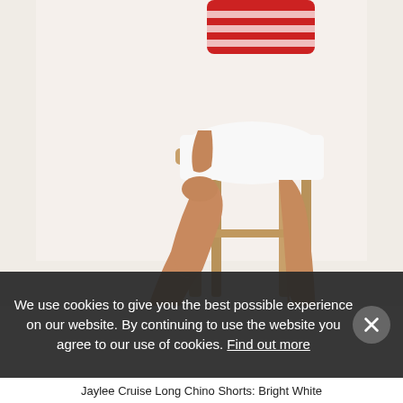[Figure (photo): Fashion product photo: a person sitting on a wooden bar stool wearing white chino shorts and a red striped top, with navy blue canvas lace-up sneakers on a white background.]
We use cookies to give you the best possible experience on our website. By continuing to use the website you agree to our use of cookies. Find out more
Jaylee Cruise Long Chino Shorts: Bright White